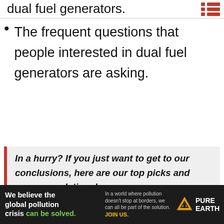dual fuel generators.
The frequent questions that people interested in dual fuel generators are asking.
In a hurry? If you just want to get to our conclusions, here are our top picks and recommendations!
[Figure (photo): Red dual fuel generator inside a rounded red-bordered box]
We believe the global pollution crisis can be solved. In a world where pollution doesn't stop at borders, we can all be part of the solution. JOIN US. PURE EARTH